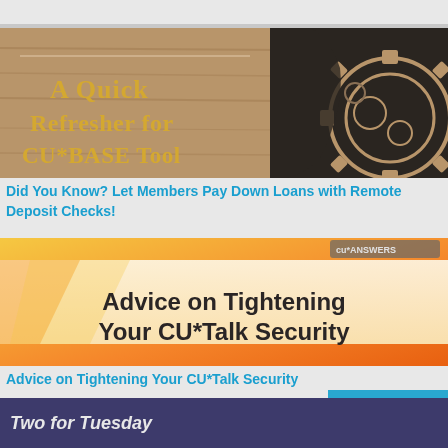[Figure (illustration): Banner image with wooden background and gear/cog head silhouette. Text reads 'A Quick Refresher for CU*BASE Tool' in golden/yellow letters.]
Did You Know? Let Members Pay Down Loans with Remote Deposit Checks!
[Figure (illustration): Banner image with orange/gold gradient background. Text reads 'Advice on Tightening Your CU*Talk Security' in dark letters. CU*Answers logo visible in top right.]
Advice on Tightening Your CU*Talk Security
Two for Tuesday